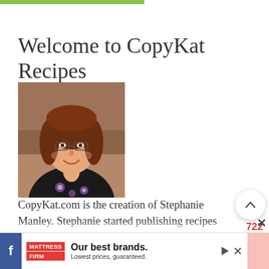[Figure (other): Green horizontal bar at top of page]
Welcome to CopyKat Recipes
[Figure (photo): Photo of Stephanie Manley, a woman with auburn hair wearing a black floral blouse, smiling]
CopyKat.com is the creation of Stephanie Manley. Stephanie started publishing recipes on the web in 1995 as a means to capture her family recipes in a format that they would not be thrown away. Over the years she has developed many recipes that taste just like
[Figure (other): Advertisement banner for Mattress Firm reading 'Our best brands. Lowest prices, guaranteed.']